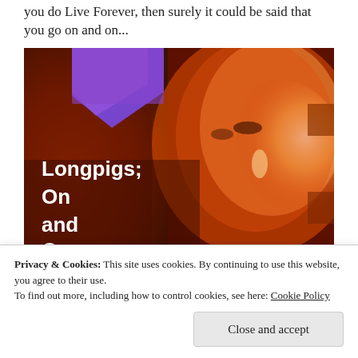you do Live Forever, then surely it could be said that you go on and on...
[Figure (photo): Album cover for Longpigs 'On and On' — a close-up photographic image of a person's face with warm red/orange tones and a purple geometric shape in the upper left. Text overlay reads: 'Longpigs; On and On' in bold white letters.]
Privacy & Cookies: This site uses cookies. By continuing to use this website, you agree to their use.
To find out more, including how to control cookies, see here: Cookie Policy
Close and accept